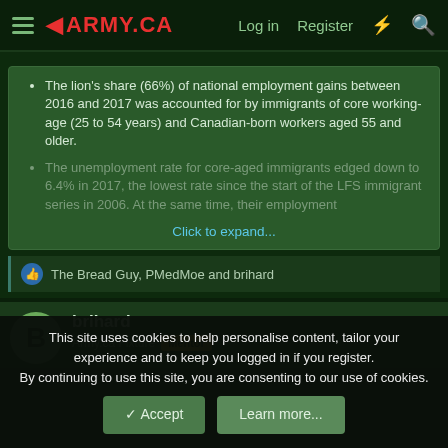ARMY.CA — Log in | Register
The lion's share (66%) of national employment gains between 2016 and 2017 was accounted for by immigrants of core working-age (25 to 54 years) and Canadian-born workers aged 55 and older.
The unemployment rate for core-aged immigrants edged down to 6.4% in 2017, the lowest rate since the start of the LFS immigrant series in 2006. At the same time, their employment
Click to expand...
The Bread Guy, PMedMoe and brihard
brihard
Army.ca Fixture   Mentor
This site uses cookies to help personalise content, tailor your experience and to keep you logged in if you register.
By continuing to use this site, you are consenting to our use of cookies.